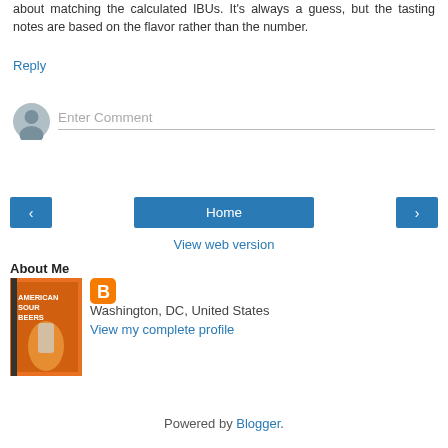about matching the calculated IBUs. It's always a guess, but the tasting notes are based on the flavor rather than the number.
Reply
[Figure (other): User avatar placeholder circle with silhouette icon, grey colored]
Enter Comment
[Figure (other): Navigation buttons: left arrow, Home, right arrow in blue]
View web version
About Me
[Figure (photo): Book cover for American Sour Beers with orange/amber background and beer glass]
[Figure (logo): Blogger orange square icon with B letter]
Washington, DC, United States
View my complete profile
Powered by Blogger.